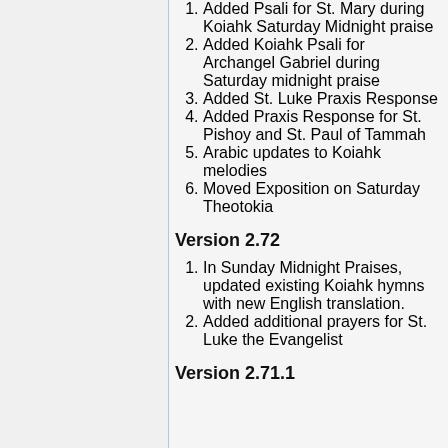1. Added Psali for St. Mary during Koiahk Saturday Midnight praise
2. Added Koiahk Psali for Archangel Gabriel during Saturday midnight praise
3. Added St. Luke Praxis Response
4. Added Praxis Response for St. Pishoy and St. Paul of Tammah
5. Arabic updates to Koiahk melodies
6. Moved Exposition on Saturday Theotokia
Version 2.72
1. In Sunday Midnight Praises, updated existing Koiahk hymns with new English translation.
2. Added additional prayers for St. Luke the Evangelist
Version 2.71.1